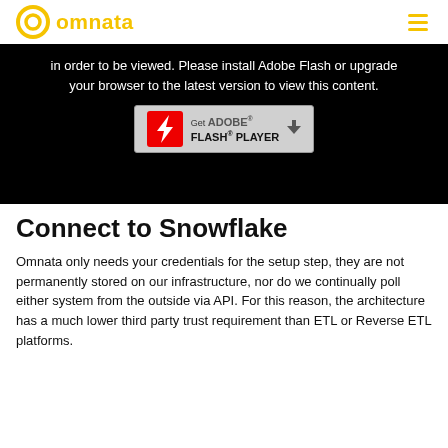omnata
[Figure (screenshot): Black background area showing Adobe Flash Player required message with 'Get ADOBE FLASH PLAYER' download button]
in order to be viewed. Please install Adobe Flash or upgrade your browser to the latest version to view this content.
Connect to Snowflake
Omnata only needs your credentials for the setup step, they are not permanently stored on our infrastructure, nor do we continually poll either system from the outside via API. For this reason, the architecture has a much lower third party trust requirement than ETL or Reverse ETL platforms.